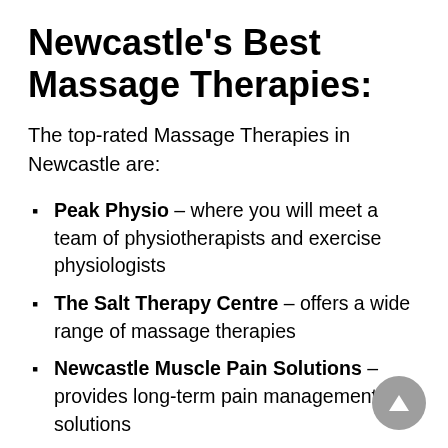Newcastle's Best Massage Therapies:
The top-rated Massage Therapies in Newcastle are:
Peak Physio – where you will meet a team of physiotherapists and exercise physiologists
The Salt Therapy Centre – offers a wide range of massage therapies
Newcastle Muscle Pain Solutions – provides long-term pain management solutions
Massage On Darby – delivers quality massages at affordable prices
Wellbeing Massage Therapy – where you can